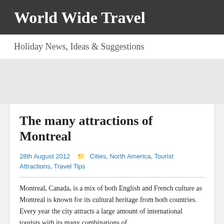World Wide Travel
Holiday News, Ideas & Suggestions
The many attractions of Montreal
28th August 2012   Cities, North America, Tourist Attractions, Travel Tips
Montreal, Canada, is a mix of both English and French culture as Montreal is known for its cultural heritage from both countries. Every year the city attracts a large amount of international tourists with its many combinations of